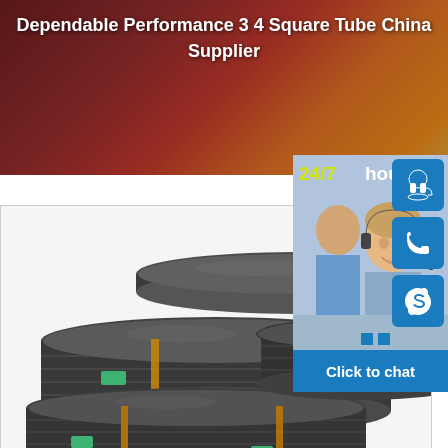Dependable Performance 3 4 Square Tube China Supplier
[Figure (photo): Stacked steel flat plates/sheets bundled with straps, green labels visible, arranged in overlapping stacks on white background]
[Figure (infographic): 24/7 hour customer service contact panel with headset icon, phone icon, Skype icon, customer service representative photo, and Click to chat button on blue background]